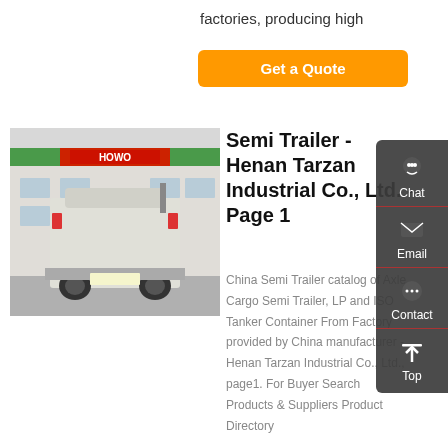factories, producing high
Get a Quote
[Figure (photo): Rear view of a semi-truck tractor parked in front of a Sinotruk HOWO dealership building with red and green signage]
Semi Trailer - Henan Tarzan Industrial Co., Ltd. - Page 1
China Semi Trailer catalog of Axle Cargo Semi Trailer, LP and ISO Tanker Container From Factory provided by China manufacturer - Henan Tarzan Industrial Co., Ltd., page1. For Buyer Search Products & Suppliers Product Directory